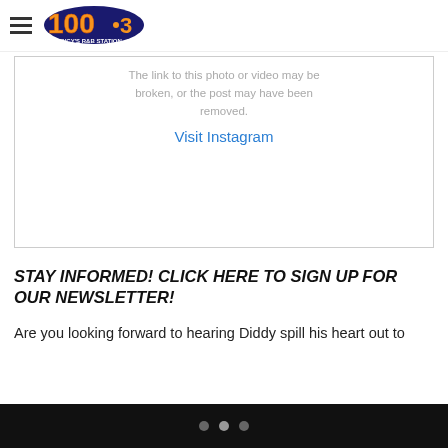100.3 Cincy's R&B Station
[Figure (screenshot): Broken Instagram embed showing message: The link to this photo or video may be broken, or the post may have been removed. Visit Instagram link.]
STAY INFORMED! CLICK HERE TO SIGN UP FOR OUR NEWSLETTER!
Are you looking forward to hearing Diddy spill his heart out to